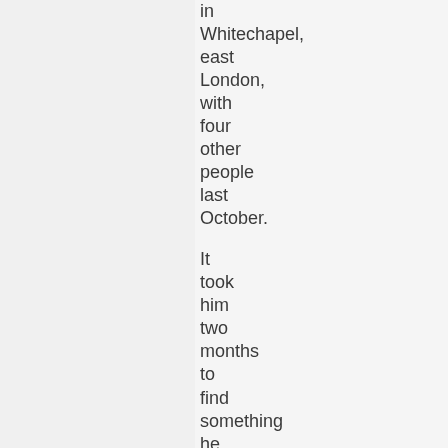in Whitechapel, east London, with four other people last October.

It took him two months to find something he could afford – he